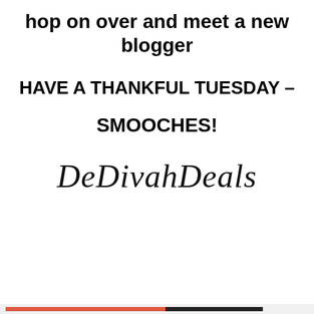hop on over and meet a new blogger
HAVE A THANKFUL TUESDAY –
SMOOCHES!
[Figure (illustration): Cursive script signature reading 'DeDivahDeals' in decorative italic font]
Privacy & Cookies: This site uses cookies. By continuing to use this website, you agree to their use.
To find out more, including how to control cookies, see here: Cookie Policy
Close and accept